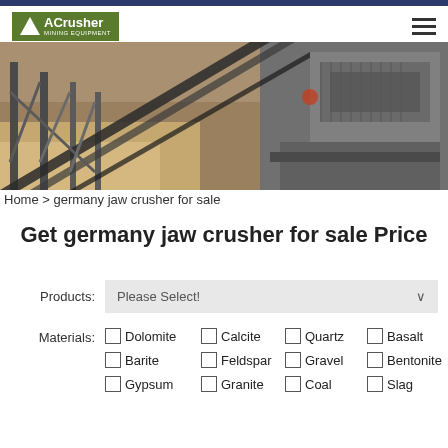ACrusher Mining Equipment
[Figure (photo): Industrial mining crusher and conveyor belt equipment at an open quarry site, photographed outdoors with orange/sandy soil and metal machinery structures.]
Home > germany jaw crusher for sale
Get germany jaw crusher for sale Price
Products: Please Select!
Materials: Dolomite  Calcite  Quartz  Basalt  Barite  Feldspar  Gravel  Bentonite  Gypsum  Granite  Coal  Slag